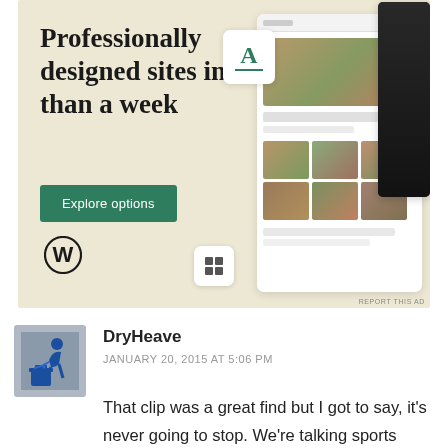[Figure (screenshot): WordPress advertisement banner with cream/beige background. Headline: 'Professionally designed sites in less than a week'. Green 'Explore options' button. WordPress logo at bottom left. Mockup screens showing website designs with food photography. Small floating widget icon.]
REPORT THIS AD
[Figure (photo): User avatar: person vomiting into a trash can icon (blue on grey background)]
DryHeave
JANUARY 20, 2015 AT 5:06 PM
That clip was a great find but I got to say, it's never going to stop. We're talking sports here. Opposing fans are ALWAYS